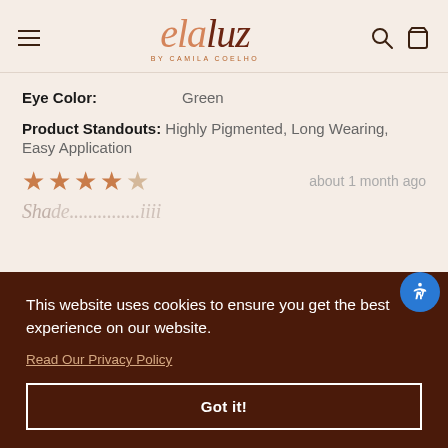[Figure (logo): Elaluz by Camila Coelho logo with hamburger menu, search and bag icons in the header]
Eye Color: Green
Product Standouts: Highly Pigmented, Long Wearing, Easy Application
★★★★☆ about 1 month ago
This website uses cookies to ensure you get the best experience on our website.
Read Our Privacy Policy
Got it!